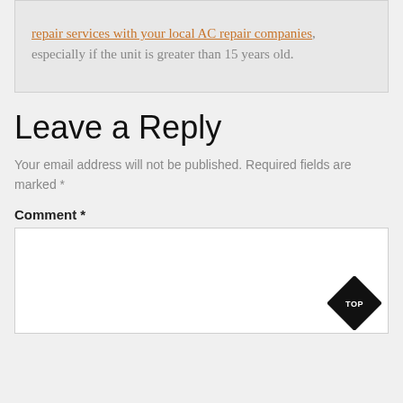repair services with your local AC repair companies, especially if the unit is greater than 15 years old.
Leave a Reply
Your email address will not be published. Required fields are marked *
Comment *
[Figure (other): TOP navigation button shaped as a black diamond/rhombus with 'TOP' text in white]